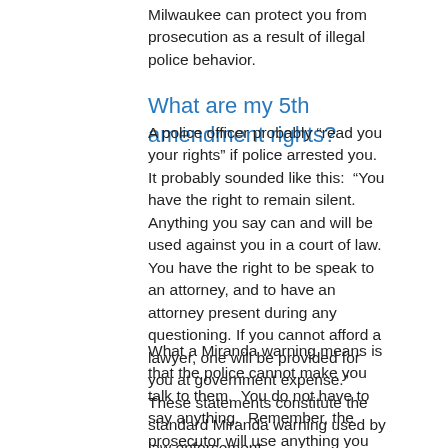Milwaukee can protect you from prosecution as a result of illegal police behavior.
What are my 5th amendment rights?
A police officer probably “read you your rights” if police arrested you. It probably sounded like this: “You have the right to remain silent. Anything you say can and will be used against you in a court of law. You have the right to be speak to an attorney, and to have an attorney present during any questioning. If you cannot afford a lawyer, one will be provided for you at government expense.” These statements constitute the standard Miranda warning used by law enforcement.
What a Miranda warning means is that the police cannot make you talk to them. You do not have to say anything. Remember, the prosecutor will use anything you say against you. You have the right to have a